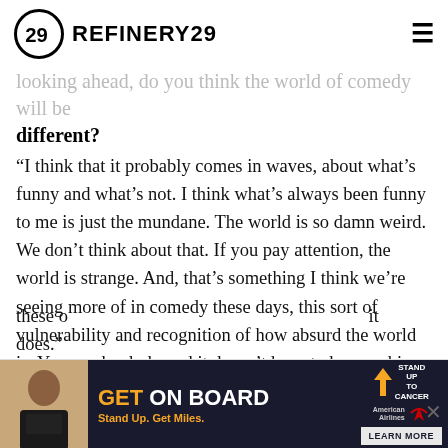REFINERY29
looking ahead, do you think the world of comedy will be different?
“I think that it probably comes in waves, about what’s funny and what’s not. I think what’s always been funny to me is just the mundane. The world is so damn weird. We don’t think about that. If you pay attention, the world is strange. And, that’s something I think we’re seeing more of in comedy these days, this sort of vulnerability and recognition of how absurd the world is. You can be dark, and it doesn’t have to be punching down and insulting this minority group, and insulting women, and insulting this and insulting that. It’s gotten to the point now, I think, at least in the comedy scene, where it’s kind of cool to be a feminist. That’s something I definitely appreciate. It’s cool to want to stand up for the little guy and for women and for all these other groups. And it does.”
[Figure (screenshot): Advertisement banner: GET ON BOARD - Stand Up To Cancer with American Airlines. Stand Up. Get Miles. LEARN MORE button.]